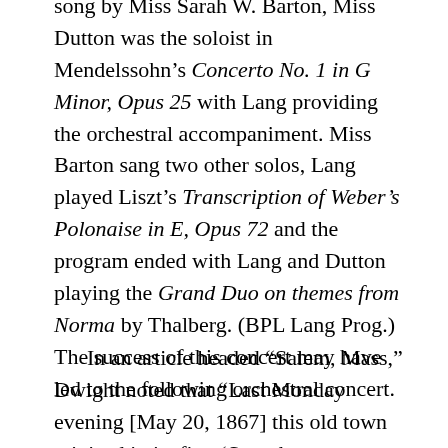song by Miss Sarah W. Barton, Miss Dutton was the soloist in Mendelssohn's Concerto No. 1 in G Minor, Opus 25 with Lang providing the orchestral accompaniment. Miss Barton sang two other solos, Lang played Liszt's Transcription of Weber's Polonaise in E, Opus 72 and the program ended with Lang and Dutton playing the Grand Duo on themes from Norma by Thalberg. (BPL Lang Prog.) The success of this concert may have led to the following orchestral concert.
In an article headed “Salem, Mass,” Dwight noted that “Last Monday evening [May 20, 1867] this old town rejoiced in its first ‘Symphony Concert,’ given by Mr. M. S. Downs,